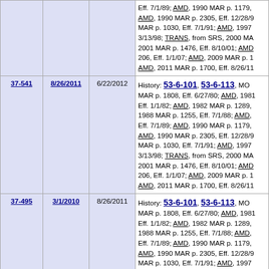| Rule | Eff. Date | Sup. Date | History |
| --- | --- | --- | --- |
|  |  |  | Eff. 7/1/89; AMD, 1990 MAR p. 1179, AMD, 1990 MAR p. 2305, Eff. 12/28/9 MAR p. 1030, Eff. 7/1/91; AMD, 1997 3/13/98; TRANS, from SRS, 2000 MA 2001 MAR p. 1476, Eff. 8/10/01; AMD 206, Eff. 1/1/07; AMD, 2009 MAR p. 1 AMD, 2011 MAR p. 1700, Eff. 8/26/11 |
| 37-541 | 8/26/2011 | 6/22/2012 | History: 53-6-101, 53-6-113, MC MAR p. 1808, Eff. 6/27/80; AMD, 1981 Eff. 1/1/82; AMD, 1982 MAR p. 1289, 1988 MAR p. 1255, Eff. 7/1/88; AMD, Eff. 7/1/89; AMD, 1990 MAR p. 1179, AMD, 1990 MAR p. 2305, Eff. 12/28/9 MAR p. 1030, Eff. 7/1/91; AMD, 1997 3/13/98; TRANS, from SRS, 2000 MA 2001 MAR p. 1476, Eff. 8/10/01; AMD 206, Eff. 1/1/07; AMD, 2009 MAR p. 1 AMD, 2011 MAR p. 1700, Eff. 8/26/11 |
| 37-495 | 3/1/2010 | 8/26/2011 | History: 53-6-101, 53-6-113, MC MAR p. 1808, Eff. 6/27/80; AMD, 1981 Eff. 1/1/82; AMD, 1982 MAR p. 1289, 1988 MAR p. 1255, Eff. 7/1/88; AMD, Eff. 7/1/89; AMD, 1990 MAR p. 1179, AMD, 1990 MAR p. 2305, Eff. 12/28/9 MAR p. 1030, Eff. 7/1/91; AMD, 1997 3/13/98; TRANS, from SRS, 2000 MA 2001 MAR p. 1476, Eff. 8/10/01; AMD 206, Eff. 1/1/07; AMD, 2009 MAR p. 1 |
| 37-467 | 7/1/2009 | 3/1/2010 | History: 53-6-101, 53-6-113, MC |